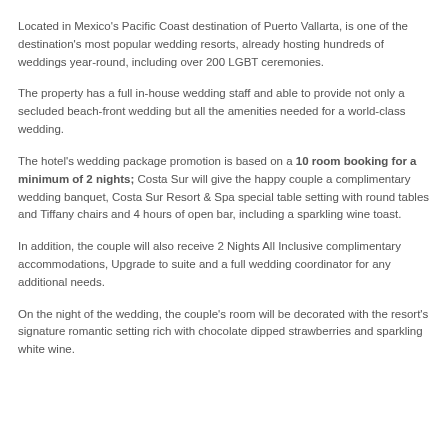Located in Mexico's Pacific Coast destination of Puerto Vallarta, is one of the destination's most popular wedding resorts, already hosting hundreds of weddings year-round, including over 200 LGBT ceremonies.
The property has a full in-house wedding staff and able to provide not only a secluded beach-front wedding but all the amenities needed for a world-class wedding.
The hotel's wedding package promotion is based on a 10 room booking for a minimum of 2 nights; Costa Sur will give the happy couple a complimentary wedding banquet, Costa Sur Resort & Spa special table setting with round tables and Tiffany chairs and 4 hours of open bar, including a sparkling wine toast.
In addition, the couple will also receive 2 Nights All Inclusive complimentary accommodations, Upgrade to suite and a full wedding coordinator for any additional needs.
On the night of the wedding, the couple's room will be decorated with the resort's signature romantic setting rich with chocolate dipped strawberries and sparkling white wine.